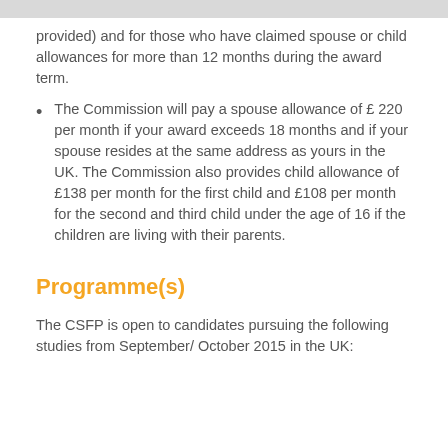provided) and for those who have claimed spouse or child allowances for more than 12 months during the award term.
The Commission will pay a spouse allowance of £220 per month if your award exceeds 18 months and if your spouse resides at the same address as yours in the UK. The Commission also provides child allowance of £138 per month for the first child and £108 per month for the second and third child under the age of 16 if the children are living with their parents.
Programme(s)
The CSFP is open to candidates pursuing the following studies from September/ October 2015 in the UK: